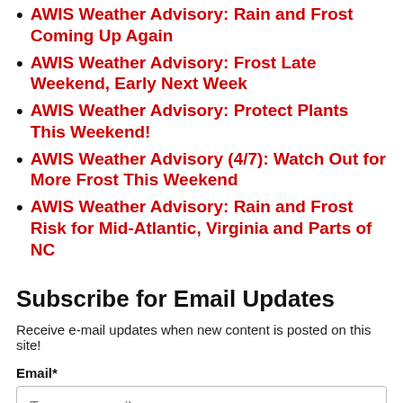AWIS Weather Advisory: Rain and Frost Coming Up Again
AWIS Weather Advisory: Frost Late Weekend, Early Next Week
AWIS Weather Advisory: Protect Plants This Weekend!
AWIS Weather Advisory (4/7): Watch Out for More Frost This Weekend
AWIS Weather Advisory: Rain and Frost Risk for Mid-Atlantic, Virginia and Parts of NC
Subscribe for Email Updates
Receive e-mail updates when new content is posted on this site!
Email*
Type your email